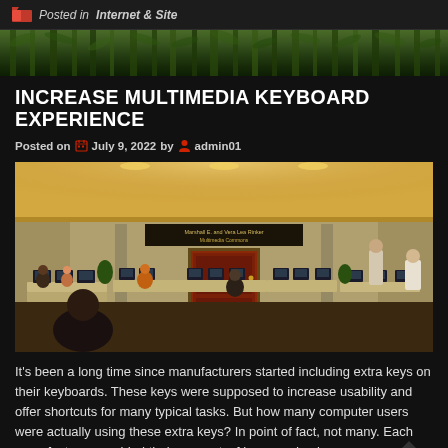Posted in Internet & Site
[Figure (photo): Bamboo/foliage decorative banner strip]
INCREASE MULTIMEDIA KEYBOARD EXPERIENCE
Posted on  July 9, 2022 by  admin01
[Figure (photo): Photo of a multimedia commons computer lab with many students working at desktop computers, featuring a sign reading Marshall E. and Vera Lea Rinker Multimedia Commons]
It's been a long time since manufacturers started including extra keys on their keyboards. These keys were supposed to increase usability and offer shortcuts for many typical tasks. But how many computer users were actually using these extra keys? In point of fact, not many. Each manufacturer provided their own sets of keys, and unique …